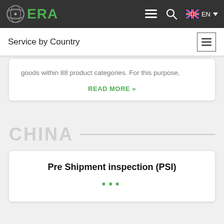ERA — Navigation bar with logo, menu, search, and EN language selector
Service by Country
goods within 88 product categories. For this purpose,
READ MORE »
CHINA
Pre Shipment inspection (PSI)
...